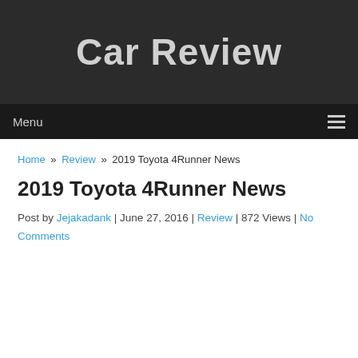Car Review
Menu
Home » Review » 2019 Toyota 4Runner News
2019 Toyota 4Runner News
Post by Jejakadank | June 27, 2016 | Review | 872 Views | No Comments